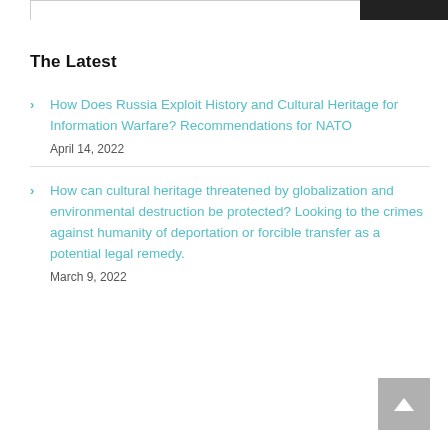The Latest
How Does Russia Exploit History and Cultural Heritage for Information Warfare? Recommendations for NATO
April 14, 2022
How can cultural heritage threatened by globalization and environmental destruction be protected? Looking to the crimes against humanity of deportation or forcible transfer as a potential legal remedy.
March 9, 2022